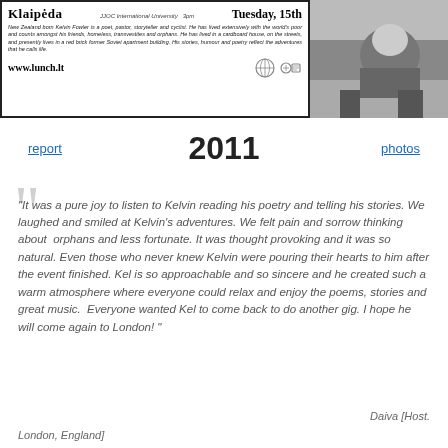[Figure (other): Flyer image for Klaipeda event at JJOC International University on Tuesday 15th, with bio text and www.lunch.lt URL, alongside a black and white photo of a person]
report   2011   photos
"It was a pure joy to listen to Kelvin reading his poetry and telling his stories. We laughed and smiled at Kelvin's adventures. We felt pain and sorrow thinking about orphans and less fortunate. It was thought provoking and it was so natural. Even those who never knew Kelvin were pouring their hearts to him after the event finished. Kel is so approachable and so sincere and he created such a warm atmosphere where everyone could relax and enjoy the poems, stories and great music. Everyone wanted Kel to come back to do another gig. I hope he will come again to London! "
Daiva [Host. London, England]